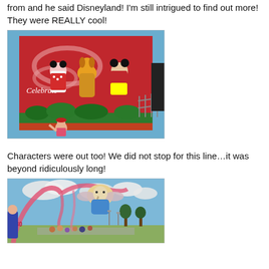from and he said Disneyland! I'm still intrigued to find out more! They were REALLY cool!
[Figure (photo): Photo of Minnie Mouse, Pluto, and Mickey Mouse Disney character costumes standing on a float or stage in front of a red 'Celebrate' banner. A woman in a pink tank top and red hat poses in front below them.]
Characters were out too! We did not stop for this line…it was beyond ridiculously long!
[Figure (photo): Photo of an outdoor scene with a large Dumbo float or balloon decoration with pink ribbon streamers forming an arch over a street/path. Cloudy sky in background with trees and crowd of people below.]